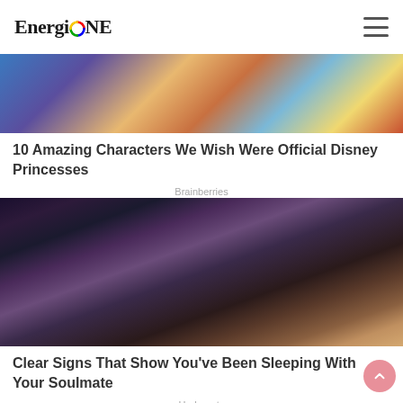EnergiONE
[Figure (photo): Animated Disney-style characters image, partially cropped at top]
10 Amazing Characters We Wish Were Official Disney Princesses
Brainberries
[Figure (photo): Photo of a couple kissing, woman with long hair and man with dreadlocks]
Clear Signs That Show You've Been Sleeping With Your Soulmate
Herbeauty